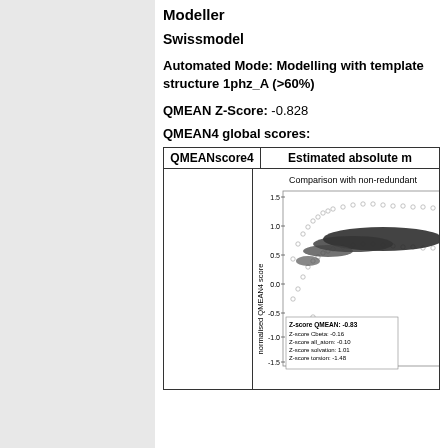Modeller
Swissmodel
Automated Mode: Modelling with template structure 1phz_A (>60%)
QMEAN Z-Score: -0.828
QMEAN4 global scores:
| QMEANscore4 | Estimated absolute m |
| --- | --- |
|  | [chart: Comparison with non-redundant set showing normalised QMEAN4 score vs model size. Z-score QMEAN: -0.83, Z-score Cbeta: -0.16, Z-score all_atom: -0.10, Z-score solvation: 1.01, Z-score torsion: -1.48] |
[Figure (scatter-plot): Comparison with non-redundant set. Scatter plot of normalised QMEAN4 score vs model size. Y-axis ranges from -1.5 to 1.5. Contains grey open circles (background set) and black filled circles. Annotation box shows: Z-score QMEAN: -0.83, Z-score Cbeta: -0.16, Z-score all_atom: -0.10, Z-score solvation: 1.01, Z-score torsion: -1.48]